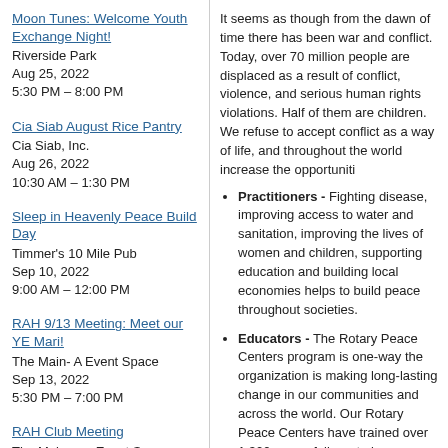Moon Tunes: Welcome Youth Exchange Night!
Riverside Park
Aug 25, 2022
5:30 PM – 8:00 PM
Cia Siab August Rice Pantry
Cia Siab, Inc.
Aug 26, 2022
10:30 AM – 1:30 PM
Sleep in Heavenly Peace Build Day
Timmer's 10 Mile Pub
Sep 10, 2022
9:00 AM – 12:00 PM
RAH 9/13 Meeting: Meet our YE Mari!
The Main- A Event Space
Sep 13, 2022
5:30 PM – 7:00 PM
RAH Club Meeting
The Main - an Event Space
Sep 13, 2022
6:00 PM - 7:00 PM
Mini Meet...
It seems as though from the dawn of time there has been war and conflict. Today, over 70 million people are displaced as a result of conflict, violence, and serious human rights violations. Half of them are children. We refuse to accept conflict as a way of life, and throughout the world increase the opportuniti...
Practitioners - Fighting disease, improving access to water and sanitation, improving the lives of women and children, supporting education and building local economies helps to build peace throughout societies.
Educators - The Rotary Peace Centers program is one-way the organization is making longlasting change in our communities and across the world. Our Rotary Peace Centers have trained over 1,300 peace fellows to become catalysts for peace through careers in government, civil society, and international organizations. Learn more about Rotary's Peace Fellows program at Rotary International
Mediators - Our members have helped negotiate humanitarian ceasefires in conflict zones to allow polio vaccinators to reach children.
Advocates - Our members serve as widely respected, impartial participants in peace processes and in post-conflict settings. Rotarians focus on creating communi...